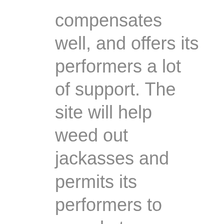compensates well, and offers its performers a lot of support. The site will help weed out jackasses and permits its performers to spend at any time. In addition, it has a daily payout option. Compared to other sites, it seems to xlovecam.nt land on the side within the cam young women more than many others. That is https://jezebel.com/a-trolls-alleged-attempt-to-purge-